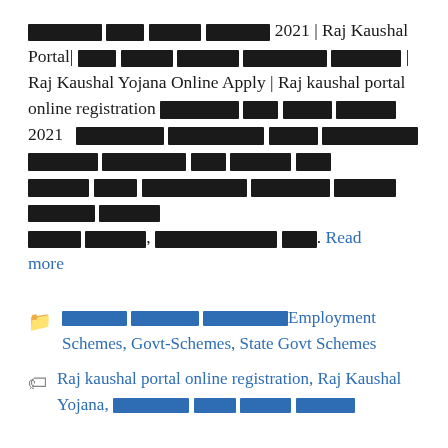[redacted] [redacted] [redacted] [redacted] 2021 | Raj Kaushal Portal| [redacted] [redacted] [redacted] [redacted] [redacted] | Raj Kaushal Yojana Online Apply | Raj kaushal portal online registration [redacted] [redacted] [redacted] [redacted] 2021 [redacted] [redacted] [redacted] [redacted] [redacted] [redacted] [redacted] [redacted] [redacted] [redacted] [redacted] [redacted] [redacted] [redacted] [redacted] [redacted] [redacted] [redacted] [redacted] [redacted]. Read more
Category: [redacted] [redacted] [redacted]Employment Schemes, Govt-Schemes, State Govt Schemes
Tags: Raj kaushal portal online registration, Raj Kaushal Yojana, [redacted] [redacted] [redacted] [redacted] [redacted]